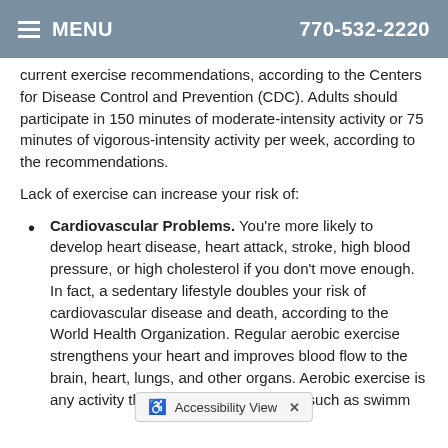MENU   770-532-2220
current exercise recommendations, according to the Centers for Disease Control and Prevention (CDC). Adults should participate in 150 minutes of moderate-intensity activity or 75 minutes of vigorous-intensity activity per week, according to the recommendations.
Lack of exercise can increase your risk of:
Cardiovascular Problems. You're more likely to develop heart disease, heart attack, stroke, high blood pressure, or high cholesterol if you don't move enough. In fact, a sedentary lifestyle doubles your risk of cardiovascular disease and death, according to the World Health Organization. Regular aerobic exercise strengthens your heart and improves blood flow to the brain, heart, lungs, and other organs. Aerobic exercise is any activity that raises your heart rate, such as swimm…